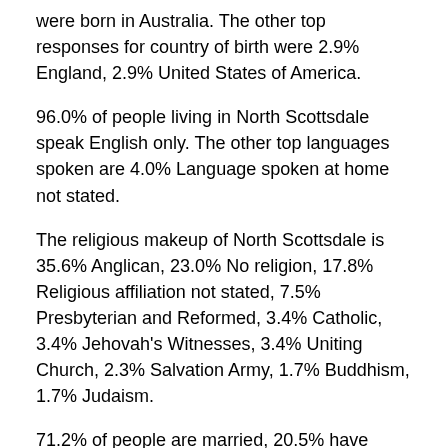were born in Australia. The other top responses for country of birth were 2.9% England, 2.9% United States of America.
96.0% of people living in North Scottsdale speak English only. The other top languages spoken are 4.0% Language spoken at home not stated.
The religious makeup of North Scottsdale is 35.6% Anglican, 23.0% No religion, 17.8% Religious affiliation not stated, 7.5% Presbyterian and Reformed, 3.4% Catholic, 3.4% Jehovah's Witnesses, 3.4% Uniting Church, 2.3% Salvation Army, 1.7% Buddhism, 1.7% Judaism.
71.2% of people are married, 20.5% have never married and 3.0% are divorced and 0.0% are separated. There are 7 widowed people living in North Scottsdale.
52.8% of the people living in North Scottsdale over the age